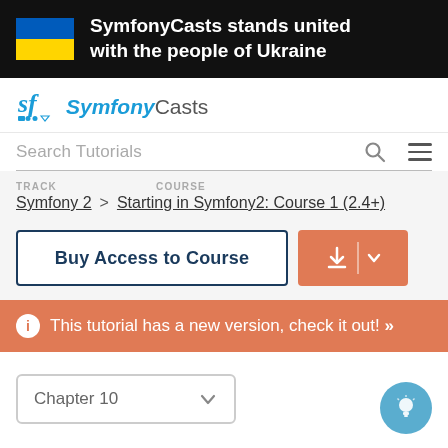SymfonyCasts stands united with the people of Ukraine
[Figure (logo): SymfonyCasts logo with SF icon and small icons beneath]
Search Tutorials
TRACK  Symfony 2 > COURSE  Starting in Symfony2: Course 1 (2.4+)
Buy Access to Course
This tutorial has a new version, check it out! >>
Chapter 10